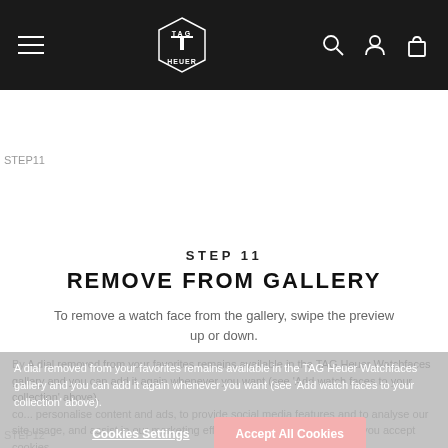TAG Heuer navigation bar with hamburger menu, logo, search, profile, and cart icons
[Figure (screenshot): STEP11 image placeholder — partial watch face screenshot]
STEP 11
REMOVE FROM GALLERY
To remove a watch face from the gallery, swipe the preview up or down.
A dial removed from your favorites remains available in the TAG Heuer Watchfaces gallery and you can add it again whenever you want (see 'Add watch faces to your collection' above).
By continuing to browse, you accept cookies. We use cookies to personalise content and ads, to provide social media features and to analyse our traffic. We also share information about your use of our site with our social media, advertising and analytics partners. By continuing to browse, you accept cookies.
Cookies Settings   Accept All Cookies
[Figure (screenshot): STEP12 image placeholder — partial watch face screenshot]